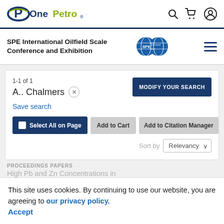OnePetro
SPE International Oilfield Scale Conference and Exhibition
1-1 of 1
A.. Chalmers
MODIFY YOUR SEARCH
Save search
Select All on Page
Add to Cart
Add to Citation Manager
Sort by  Relevancy
PROCEEDINGS PAPERS
High Pb and Zn Concentrations in
This site uses cookies. By continuing to use our website, you are agreeing to our privacy policy. Accept